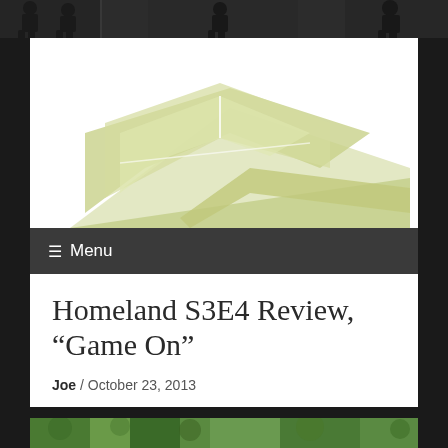[Figure (photo): Dark top strip with silhouetted figures in black and white, appearing to be people sitting]
[Figure (illustration): Website header logo area with abstract geometric shapes in yellow-green/olive colors forming angular arrow-like forms on white background]
≡ Menu
Homeland S3E4 Review, “Game On”
Joe / October 23, 2013
[Figure (photo): Partial view of a green outdoor scene, appears to be the beginning of an article image]